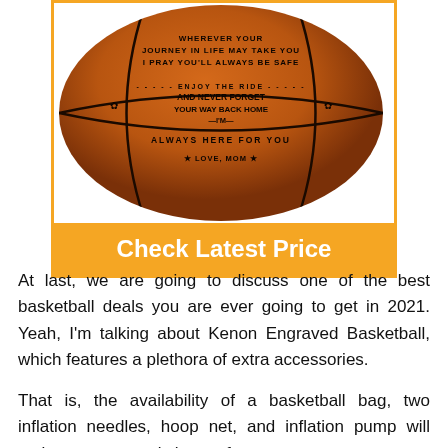[Figure (photo): A basketball engraved with the text: WHEREVER YOUR JOURNEY IN LIFE MAY TAKE YOU I PRAY YOU'LL ALWAYS BE SAFE — ENJOY THE RIDE AND NEVER FORGET YOUR WAY BACK HOME — I'M ALWAYS HERE FOR YOU — LOVE, MOM]
Check Latest Price
At last, we are going to discuss one of the best basketball deals you are ever going to get in 2021. Yeah, I'm talking about Kenon Engraved Basketball, which features a plethora of extra accessories.
That is, the availability of a basketball bag, two inflation needles, hoop net, and inflation pump will make you extremely happy for